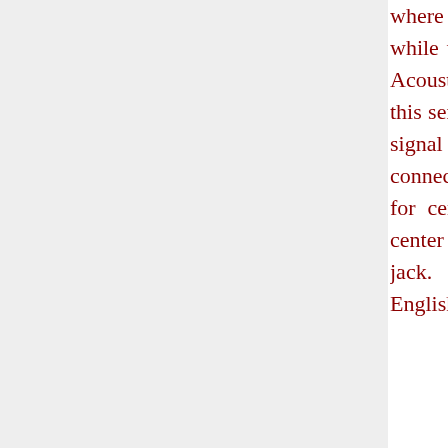where you have easy access to its rear. Display window - Make sure you can s while using your system. English. Refer list included with your system.Speaker Acoustimass module Left. Front speak Surround speakers Left RightPower adapt this service, contact your cable TV prov Note: Make sure that the cable radio ins signal splitter so that only the FM radio ba band, is received by the media center connectionTurn the Acoustimass module on.Power connection for center. http://astucesvoyages.com/images/bo installation-manual.pdf Media center powe power supply cord is fully extended; it s control antenna. DC power jack. Media panel. Installing the remote control b calibration headset. EnglishUsing the A headset. Test the sensor and enable the